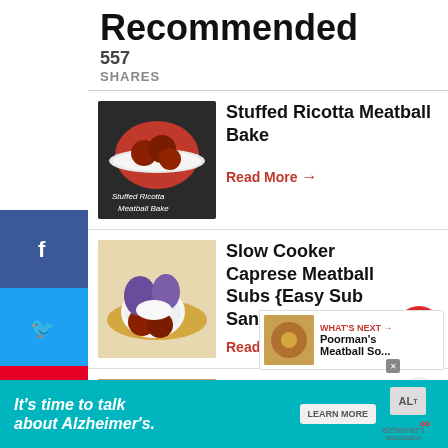Recommended
557
SHARES
[Figure (photo): Stuffed Ricotta Meatball Bake dish photo – meatballs in tomato sauce on a white plate, dark background]
Stuffed Ricotta Meatball Bake
Read More →
[Figure (photo): Slow Cooker Caprese Meatball Subs photo – meatball sub with purple buns, white cheese, on a plate]
Slow Cooker Caprese Meatball Subs {Easy Sub Sandwich}
Read More →
[Figure (photo): What's Next thumbnail – small food image for Poorman's Meatball So...]
WHAT'S NEXT → Poorman's Meatball So...
It's time to talk about Alzheimer's.
LEARN MORE